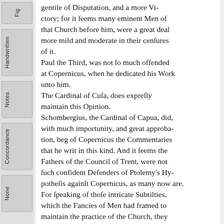gentile of Disputation, and a more Vi-ctory; for it seems many eminent Men of that Church before him, were a great deal more mild and moderate in their censures of it.
Paul the Third, was not so much offended at Copernicus, when he dedicated his Work unto him.
The Cardinal of Cusa, does expresly maintain this Opinion.
Schombergius, the Cardinal of Capua, did, with much importunity, and great approbation, beg of Copernicus the Commentaries that he writ in this kind. And it seems the Fathers of the Council of Trent, were not such confident Defenders of Ptolemy's Hypothesis against Copernicus, as many now are.
For speaking of those intricate Subtilties, which the Fancies of Men had framed to maintain the practice of the Church, they compared them to Astronomers, (who (say they) do fain Excentricks and Epicycles, and such Engines of the Orbs, to save the Phenomena; though they know there are no such things. But now, because this Opinion of Copernicus is determine, both by the faith...